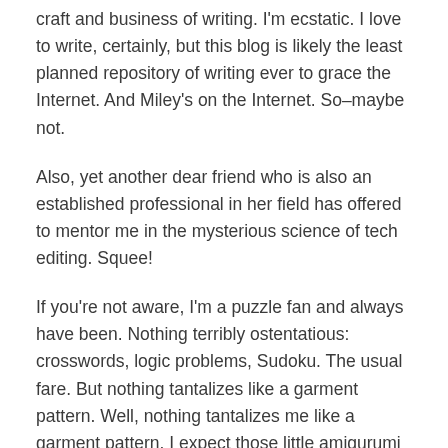craft and business of writing. I'm ecstatic. I love to write, certainly, but this blog is likely the least planned repository of writing ever to grace the Internet. And Miley's on the Internet. So–maybe not.
Also, yet another dear friend who is also an established professional in her field has offered to mentor me in the mysterious science of tech editing. Squee!
If you're not aware, I'm a puzzle fan and always have been. Nothing terribly ostentatious: crosswords, logic problems, Sudoku. The usual fare. But nothing tantalizes like a garment pattern. Well, nothing tantalizes me like a garment pattern. I expect those little amigurumi characters have some interesting geometry, but